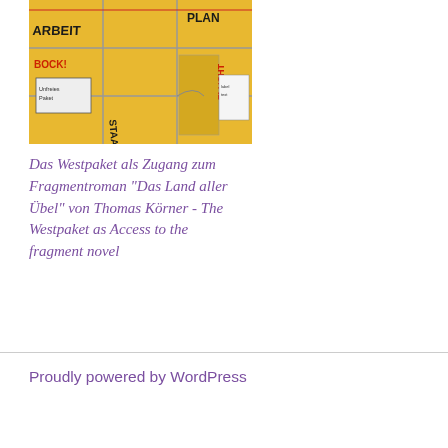[Figure (photo): A photograph of yellow envelope/folder-like objects arranged in a grid pattern, with German words written on them in marker: 'ARBEIT', 'PLAN', 'BOCK!', 'STAAT', and other text. One item has a label reading 'Unfreies Paket'.]
Das Westpaket als Zugang zum Fragmentroman "Das Land aller Übel" von Thomas Körner - The Westpaket as Access to the fragment novel
Proudly powered by WordPress